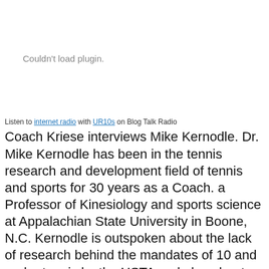[Figure (other): Embedded plugin area showing 'Couldn't load plugin.' message]
Listen to internet radio with UR10s on Blog Talk Radio
Coach Kriese interviews Mike Kernodle. Dr. Mike Kernodle has been in the tennis research and development field of tennis and sports for 30 years as a Coach. a Professor of Kinesiology and sports science at Appalachian State University in Boone, N.C. Kernodle is outspoken about the lack of research behind the mandates of 10 and under tennis by the USTA and also about many of the policies presented reecently. Kernodle has served on the Sports Science comittees for tennis and voices his opinions about what the USTA does well and does not do well int he area of player development. Kernodle talks about the need for a special 'think tank' committee within the USTA to come up clearly